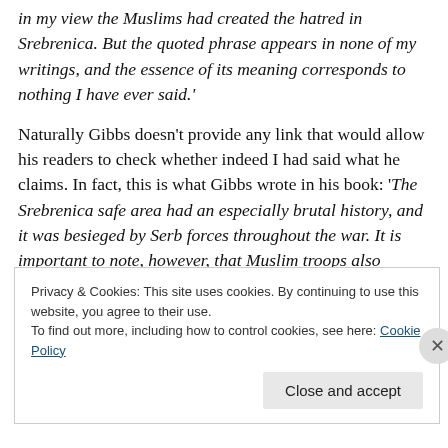in my view the Muslims had created the hatred in Srebrenica. But the quoted phrase appears in none of my writings, and the essence of its meaning corresponds to nothing I have ever said.'
Naturally Gibbs doesn't provide any link that would allow his readers to check whether indeed I had said what he claims. In fact, this is what Gibbs wrote in his book: 'The Srebrenica safe area had an especially brutal history, and it was besieged by Serb forces throughout the war. It is important to note, however, that Muslim troops also
Privacy & Cookies: This site uses cookies. By continuing to use this website, you agree to their use.
To find out more, including how to control cookies, see here: Cookie Policy